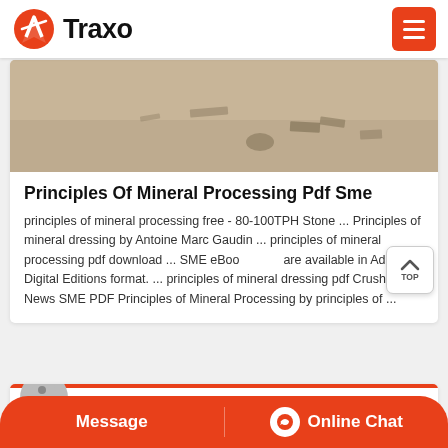Traxo
[Figure (photo): Outdoor ground/sandy terrain photo used as article thumbnail]
Principles Of Mineral Processing Pdf Sme
principles of mineral processing free - 80-100TPH Stone ... Principles of mineral dressing by Antoine Marc Gaudin ... principles of mineral processing pdf download ... SME eBook are available in Adobe Digital Editions format. ... principles of mineral dressing pdf Crusher News SME PDF Principles of Mineral Processing by principles of ...
Related News